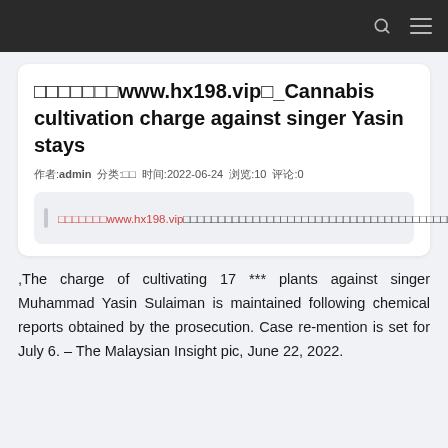[search icon] [menu icon]
□□□□□□□www.hx198.vip□_Cannabis cultivation charge against singer Yasin stays
作者:admin  分类:□□  时间:2022-06-24  浏览:10  评论:0
□□□□□□□www.hx198.vip□□□□□□□□□□□□□□□□□□□□□□□□□□□□□□□□□□□□□□□□□□□□□□□□□□□□□□□□□□□□□□□□□□□□□□□□
,The charge of cultivating 17 *** plants against singer Muhammad Yasin Sulaiman is maintained following chemical reports obtained by the prosecution. Case re-mention is set for July 6. – The Malaysian Insight pic, June 22, 2022.